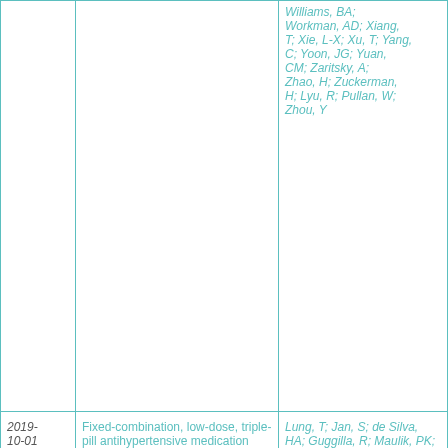| Date | Title | Authors |
| --- | --- | --- |
|  |  | Williams, BA; Workman, AD; Xiang, T; Xie, L-X; Xu, T; Yang, C; Yoon, JG; Yuan, CM; Zaritsky, A; Zhao, H; Zuckerman, H; Lyu, R; Pullan, W; Zhou, Y |
| 2019-10-01 | Fixed-combination, low-dose, triple-pill antihypertensive medication versus usual care in patients with mild-to-moderate hypertension in Sri Lanka: a within-trial and modelled economic evaluation of the TRIUMPH trial | Lung, T; Jan, S; de Silva, HA; Guggilla, R; Maulik, PK; Naik, N; Patel, A; de Silva, AP; Rajapakse, S; Ranasinghe, G; Prabhakaran, D; Rodgers, A; Salam, A; Selak, V; Stepien, S; Thom, S; Webster, R; Lea-Laba, T |
| 2019-01-01 | Reaching cardiovascular prevention guideline targets | Selak, V; Webster, R; Stepien, S; Pullen, C; |